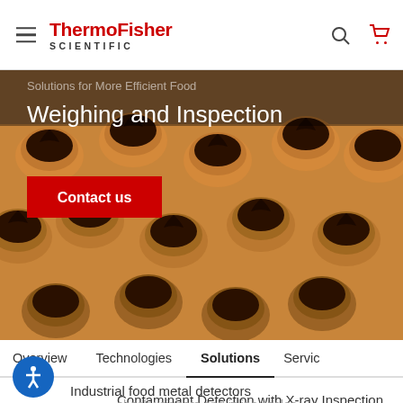ThermoFisher SCIENTIFIC
[Figure (photo): Hero banner showing rows of chocolate-topped pastry cups (chocolate tarts) from above on a production line, with overlaid text about food weighing and inspection solutions]
Weighing and Inspection
Contact us
Overview  Technologies  Solutions  Servic...
Industrial food metal detectors
Contaminant Detection with X-ray Inspection
checkweighers and inline scales